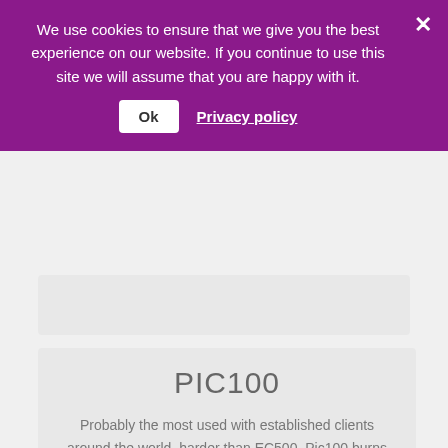We use cookies to ensure that we give you the best experience on our website. If you continue to use this site we will assume that you are happy with it.
Ok  Privacy policy
PIC100
Probably the most used with established clients around the world, harder than EC500, Pic100 burns out at a moderate temperature with minimal thermal expansion so optimally suited for jewellery, available on the full selection of Perfactory printers.
For more information or to purchase, please